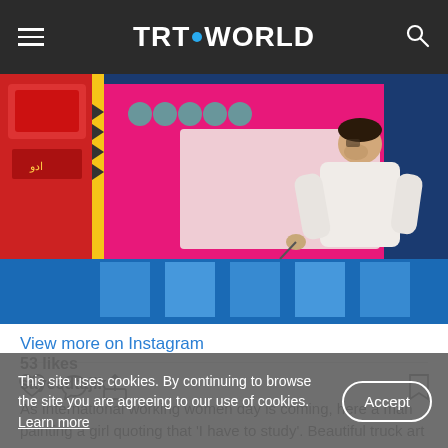TRT WORLD
[Figure (photo): A man painting colorful truck art, bending over a bright pink and blue surface with Arabic/Urdu calligraphy and decorative patterns. The painter is wearing a white jacket.]
View more on Instagram
53 likes
sayeedtajik
As International working women day is coming, here a man painting a girl quoting that 'I have to study'. Beautiful truck art
This site uses cookies. By continuing to browse the site you are agreeing to our use of cookies. Learn more
Accept